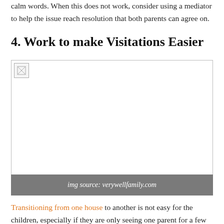calm words. When this does not work, consider using a mediator to help the issue reach resolution that both parents can agree on.
4. Work to make Visitations Easier
[Figure (photo): Broken/missing image placeholder (image from verywellfamily.com)]
img source: verywellfamily.com
Transitioning from one house to another is not easy for the children, especially if they are only seeing one parent for a few hours a week or